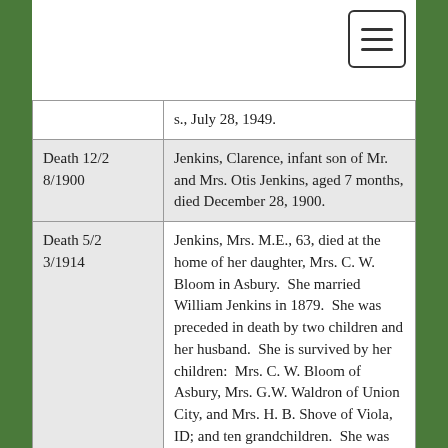[Figure (other): Hamburger menu button in top right corner]
| Type/Date | Record |
| --- | --- |
|  | s., July 28, 1949. |
| Death 12/28/1900 | Jenkins, Clarence, infant son of Mr. and Mrs. Otis Jenkins, aged 7 months, died December 28, 1900. |
| Death 5/23/1914 | Jenkins, Mrs. M.E., 63, died at the home of her daughter, Mrs. C. W. Bloom in Asbury.  She married William Jenkins in 1879.  She was preceded in death by two children and her husband.  She is survived by her children:  Mrs. C. W. Bloom of Asbury, Mrs. G.W. Waldron of Union City, and Mrs. H. B. Shove of Viola, ID; and ten grandchildren.  She was buried in Asbury Cemetery. |
| Death 11/1... | Jenkins, Mrs. Otis, aged 33 years, die... |